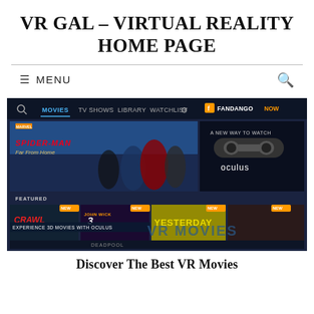VR GAL – VIRTUAL REALITY HOME PAGE
[Figure (screenshot): Screenshot of FandangoNow website showing Spider-Man Far From Home banner, Oculus partnership promotion, Featured movies section including Crawl, John Wick 3, Yesterday, and text overlays 'Experience 3D Movies With Oculus' and 'VR Movies']
Discover The Best VR Movies